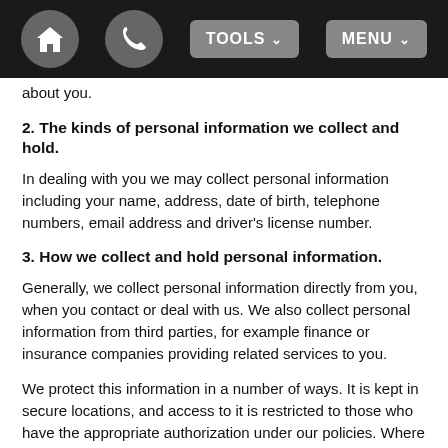TOOLS  MENU
about you.
2. The kinds of personal information we collect and hold.
In dealing with you we may collect personal information including your name, address, date of birth, telephone numbers, email address and driver's license number.
3. How we collect and hold personal information.
Generally, we collect personal information directly from you, when you contact or deal with us. We also collect personal information from third parties, for example finance or insurance companies providing related services to you.
We protect this information in a number of ways. It is kept in secure locations, and access to it is restricted to those who have the appropriate authorization under our policies. Where we share the information with third parties we ensure they also have appropriate policies and security in place. When the information